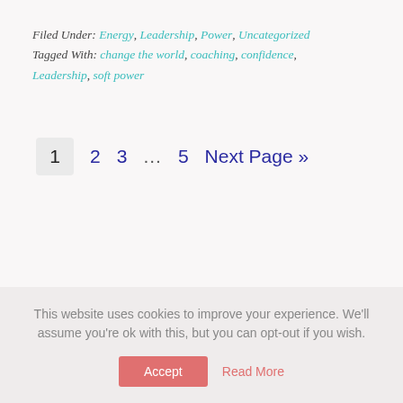Filed Under: Energy, Leadership, Power, Uncategorized Tagged With: change the world, coaching, confidence, Leadership, soft power
1  2  3  ...  5  Next Page »
This website uses cookies to improve your experience. We'll assume you're ok with this, but you can opt-out if you wish. Accept  Read More